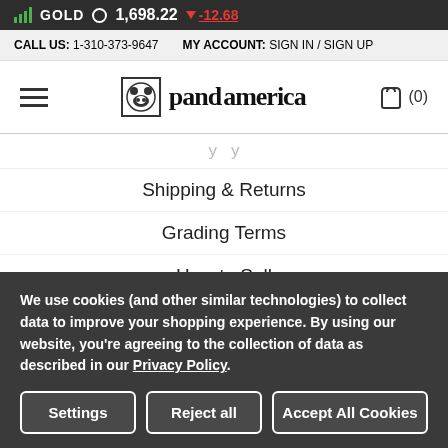GOLD ⊙ 1,698.22 ▼ -12.68
CALL US: 1-310-373-9647   MY ACCOUNT: SIGN IN / SIGN UP
[Figure (logo): Pandaamerica logo with panda icon and hamburger menu and cart (0)]
Shipping & Returns
Grading Terms
How to Sell
How to  Buy
Panda Varieties
We use cookies (and other similar technologies) to collect data to improve your shopping experience. By using our website, you're agreeing to the collection of data as described in our Privacy Policy.
Settings   Reject all   Accept All Cookies